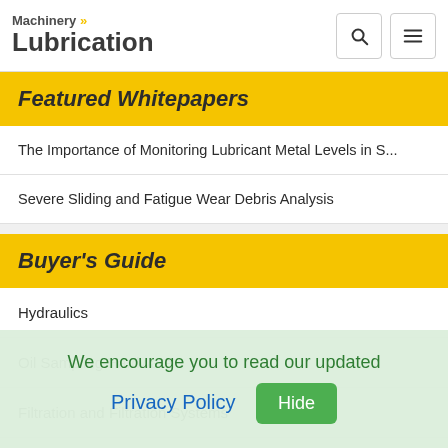Machinery Lubrication
Featured Whitepapers
The Importance of Monitoring Lubricant Metal Levels in S...
Severe Sliding and Fatigue Wear Debris Analysis
Buyer's Guide
Hydraulics
Oil Sampling Hardware
Filtration and Filtration Systems
We encourage you to read our updated Privacy Policy  Hide